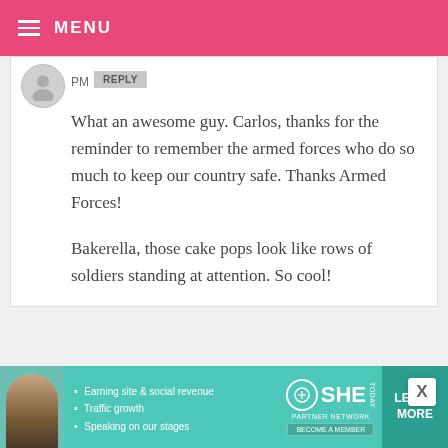≡ MENU
PM   REPLY
What an awesome guy. Carlos, thanks for the reminder to remember the armed forces who do so much to keep our country safe. Thanks Armed Forces!

Bakerella, those cake pops look like rows of soldiers standing at attention. So cool!
[Figure (screenshot): Partial second comment card with avatar visible]
[Figure (infographic): SHE Partner Network advertisement banner with woman photo, bullet points: Earning site & social revenue, Traffic growth, Speaking on our stages, SHE PARTNER NETWORK logo, BECOME A MEMBER button, LEARN MORE button]